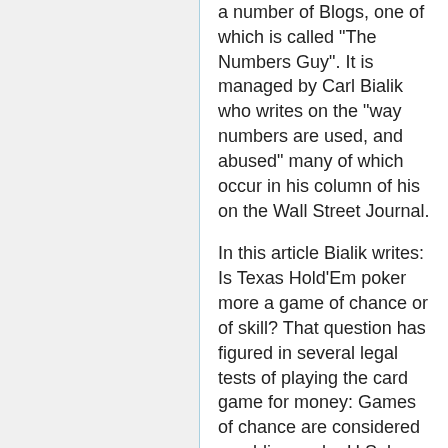a number of Blogs, one of which is called "The Numbers Guy". It is managed by Carl Bialik who writes on the "way numbers are used, and abused" many of which occur in his column of his on the Wall Street Journal.
In this article Bialik writes: Is Texas Hold'Em poker more a game of chance or of skill? That question has figured in several legal tests of playing the card game for money: Games of chance are considered gambling under U.S. law. Now a major poker Web site has sponsored a study it claims